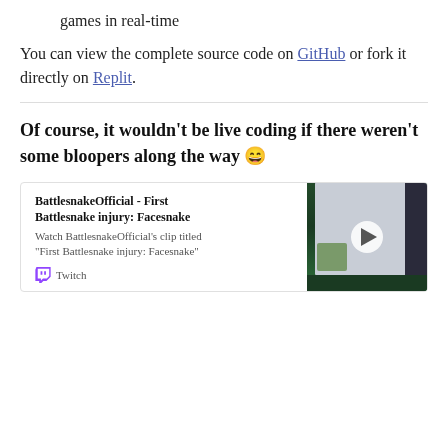games in real-time
You can view the complete source code on GitHub or fork it directly on Replit.
Of course, it wouldn't be live coding if there weren't some bloopers along the way 😄
[Figure (screenshot): Embedded Twitch clip card for 'BattlesnakeOfficial - First Battlesnake injury: Facesnake' with a video thumbnail showing a screen and the Twitch logo.]